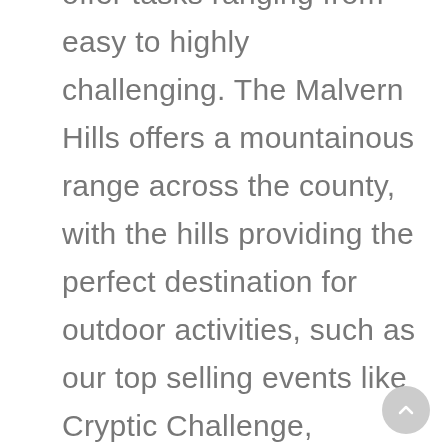offer tasks ranging from easy to highly challenging. The Malvern Hills offers a mountainous range across the county, with the hills providing the perfect destination for outdoor activities, such as our top selling events like Cryptic Challenge, Decision Wheel and Make a Million, suitable for small as well as larger teams, with something for everyone. For more information give our sales team a call on 0845 680 6109 and discuss your requirements, fill out a quick enquiry or take a look at some of the other great events we run in Worcester!